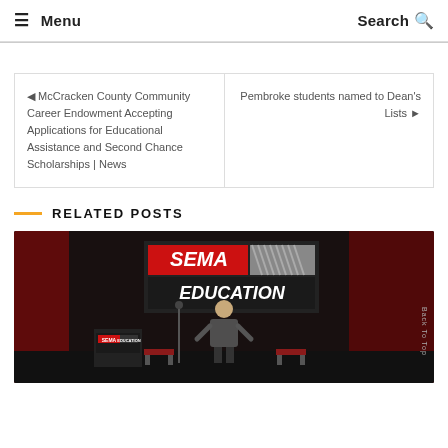≡ Menu   Search 🔍
◄ McCracken County Community Career Endowment Accepting Applications for Educational Assistance and Second Chance Scholarships | News
Pembroke students named to Dean's Lists ►
RELATED POSTS
[Figure (photo): Person standing on stage in front of a SEMA Education banner/sign, giving a presentation. The stage has red curtains and a podium with SEMA Education logo.]